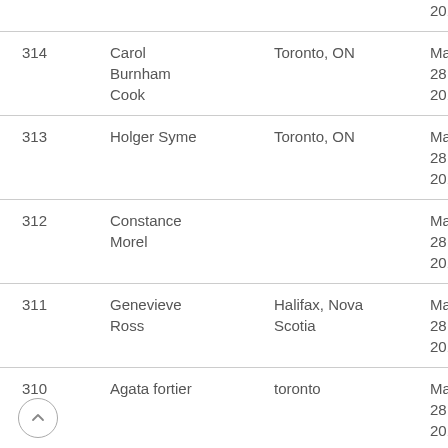| # | Name | Location | Date |
| --- | --- | --- | --- |
|  |  |  | 2015 |
| 314 | Carol Burnham Cook | Toronto, ON | Mar 28, 2015 |
| 313 | Holger Syme | Toronto, ON | Mar 28, 2015 |
| 312 | Constance Morel |  | Mar 28, 2015 |
| 311 | Genevieve Ross | Halifax, Nova Scotia | Mar 28, 2015 |
| 310 | Agata fortier | toronto | Mar 28, 2015 |
| 309 | Virginia Thomas | Montreal, Quebec | Mar 28, 2015 |